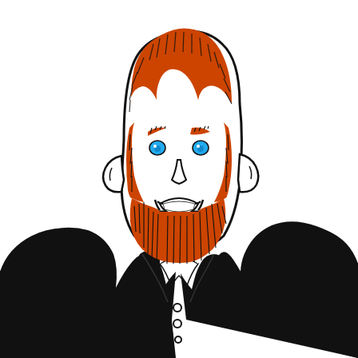[Figure (illustration): A cartoon/caricature illustration of a man with orange-red hair (slicked back with a widow's peak), blue eyes, orange-red beard with black crosshatch lines, and a big smiling mouth showing teeth. He wears a black jacket/suit with a white shirt. The illustration is done in a bold marker/ink style with black outlines and orange-red fill for hair and beard. Signed 'Rob' in the bottom right corner.]